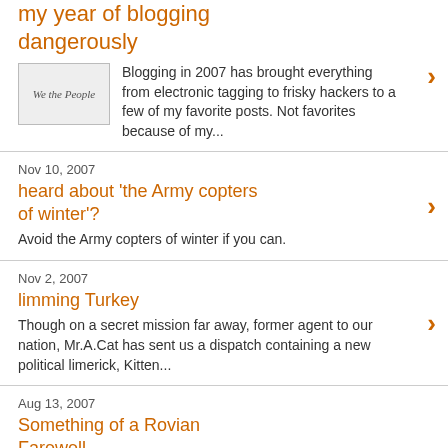my year of blogging dangerously
Blogging in 2007 has brought everything from electronic tagging to frisky hackers to a few of my favorite posts. Not favorites because of my...
Nov 10, 2007
heard about 'the Army copters of winter'?
Avoid the Army copters of winter if you can.
Nov 2, 2007
limming Turkey
Though on a secret mission far away, former agent to our nation, Mr.A.Cat has sent us a dispatch containing a new political limerick, Kitten...
Aug 13, 2007
Something of a Rovian Farewell